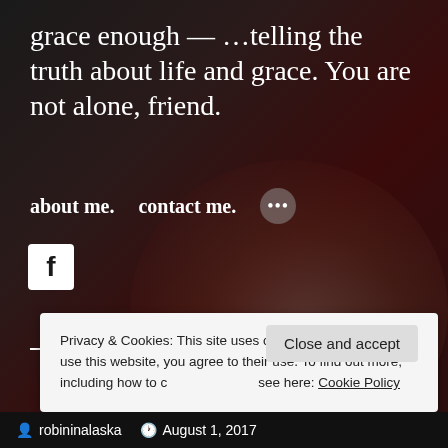grace enough — …telling the truth about life and grace. You are not alone, friend.
about me.   contact me.   •••
[Figure (illustration): Facebook icon (white 'f' on dark square background)]
[Figure (photo): Dark background photograph showing a white daisy/dandelion flower held by fingers against a dark red/maroon background]
Privacy & Cookies: This site uses cookies. By continuing to use this website, you agree to their use. To find out more, including how to control cookies, see here: Cookie Policy
Close and accept
robininalaska   August 1, 2017